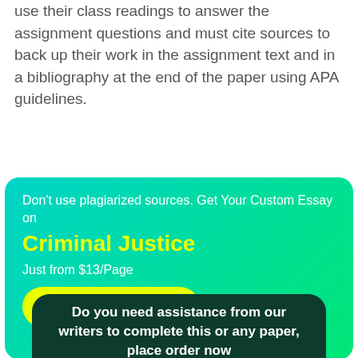students cannot quote any published text. Students are to use their class readings to answer the assignment questions and must cite sources to back up their work in the assignment text and in a bibliography at the end of the paper using APA guidelines.
[Figure (infographic): Promotional ad box with teal-to-green gradient. Text: Don't use plagiarized sources. Get Your Custom Essay on — Criminal Justice — Just from $13/Page — ORDER ESSAY button in yellow pill shape.]
[Figure (infographic): Dark green rounded box at bottom with white bold text: Do you need assistance from our writers to complete this or any paper, place order now]